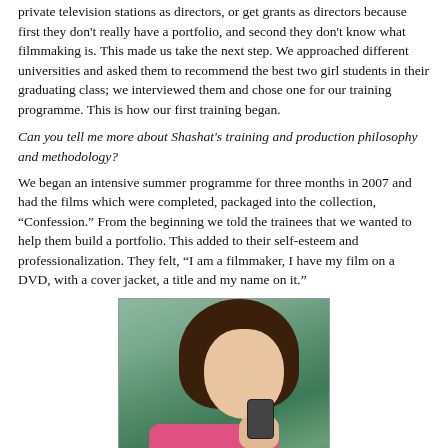private television stations as directors, or get grants as directors because first they don't really have a portfolio, and second they don't know what filmmaking is. This made us take the next step. We approached different universities and asked them to recommend the best two girl students in their graduating class; we interviewed them and chose one for our training programme. This is how our first training began.
Can you tell me more about Shashat's training and production philosophy and methodology?
We began an intensive summer programme for three months in 2007 and had the films which were completed, packaged into the collection, “Confession.” From the beginning we told the trainees that we wanted to help them build a portfolio. This added to their self-esteem and professionalization. They felt, “I am a filmmaker, I have my film on a DVD, with a cover jacket, a title and my name on it.”
[Figure (photo): A young woman holding a mobile phone/camera device near her face, outdoors with green foliage in the background, wearing a pink shirt. Caption reads: Faytoba Jubbi's Love on the Mobile from Confession]
Faytoba Jubbi's Love on the Mobile from Confession
“Confession”, a 7-film collection produced in 2008, is about how girls love in this day and age, and the young women told of their own lives. They came from outside the centre—one was from Hebron, another from Tulkarem, a third from Jenin, a fourth from